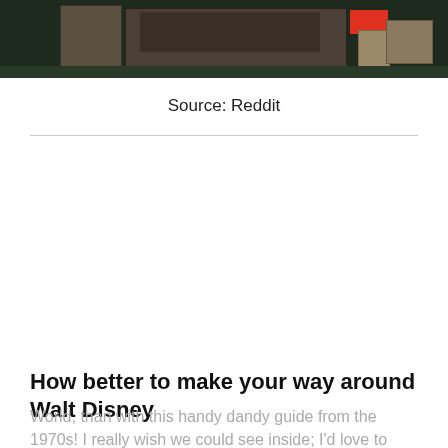[Figure (photo): Cropped photo of a book or boxed item on a dark surface, with a red sticker/label visible at the top right.]
Source: Reddit
How better to make your way around Walt Disney
World, than with this handy dandy guide from the 1970s! I really wish we could see inside; I'd love to